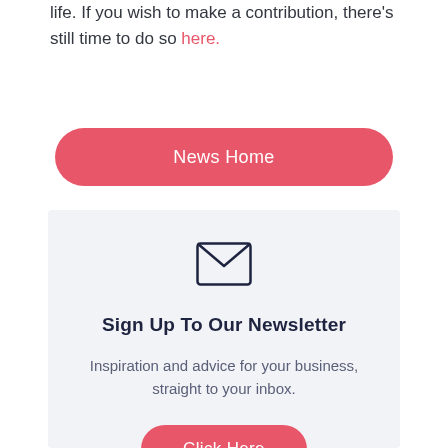life. If you wish to make a contribution, there's still time to do so here.
News Home
[Figure (illustration): Envelope icon outline]
Sign Up To Our Newsletter
Inspiration and advice for your business, straight to your inbox.
Click Here